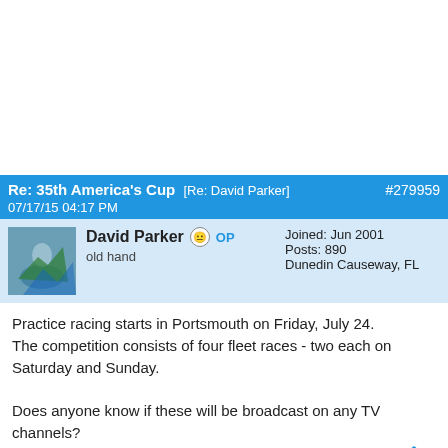Re: 35th America's Cup [Re: David Parker] #279959
07/17/15 04:17 PM
David Parker OP
old hand
Joined: Jun 2001
Posts: 890
Dunedin Causeway, FL
Practice racing starts in Portsmouth on Friday, July 24.
The competition consists of four fleet races - two each on Saturday and Sunday.

Does anyone know if these will be broadcast on any TV channels?
Will it on the AC YouTube channel? Has there been any announcement of the times for the races?